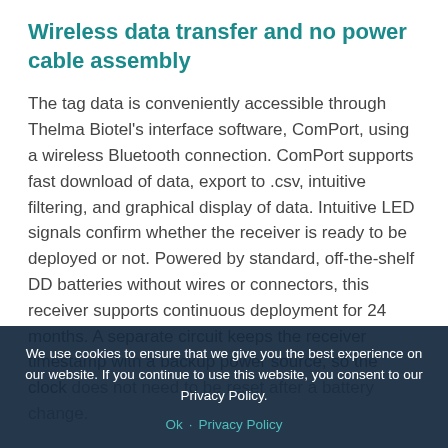Wireless data transfer and no power cable assembly
The tag data is conveniently accessible through Thelma Biotel's interface software, ComPort, using a wireless Bluetooth connection. ComPort supports fast download of data, export to .csv, intuitive filtering, and graphical display of data. Intuitive LED signals confirm whether the receiver is ready to be deployed or not. Powered by standard, off-the-shelf DD batteries without wires or connectors, this receiver supports continuous deployment for 24 months. A separate circuit keeps the receiver timestamp with a backup power source, so the clock does not need to be reset after a battery change.
We use cookies to ensure that we give you the best experience on our website. If you continue to use this website, you consent to our Privacy Policy.
Ok   Privacy Policy